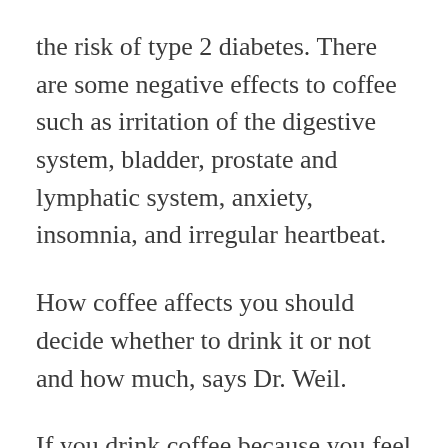the risk of type 2 diabetes. There are some negative effects to coffee such as irritation of the digestive system, bladder, prostate and lymphatic system, anxiety, insomnia, and irregular heartbeat.
How coffee affects you should decide whether to drink it or not and how much, says Dr. Weil.
If you drink coffee because you feel sluggish or sleepy, Dr. Weil recommends a daily multivitamin to ensure that you get the energy you need to optimize